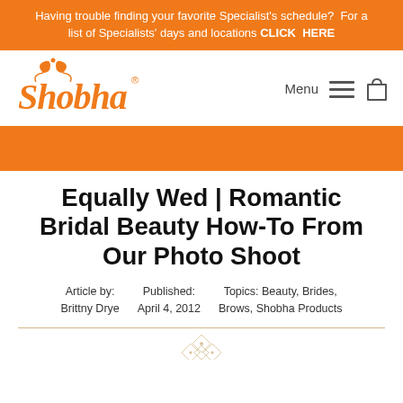Having trouble finding your favorite Specialist's schedule?  For a list of Specialists' days and locations CLICK  HERE
[Figure (logo): Shobha logo in orange with decorative swirl elements above the text, with registered trademark symbol]
Equally Wed | Romantic Bridal Beauty How-To From Our Photo Shoot
Article by: Brittny Drye    Published: April 4, 2012    Topics: Beauty, Brides, Brows, Shobha Products